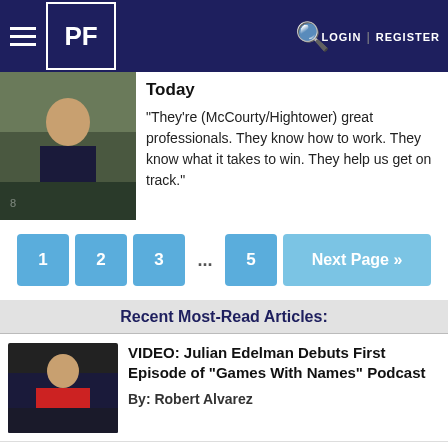PF | LOGIN | REGISTER
Today
“They’re (McCourty/Hightower) great professionals. They know how to work. They know what it takes to win. They help us get on track.”
1 2 3 ... 5 Next Page »
Recent Most-Read Articles:
VIDEO: Julian Edelman Debuts First Episode of “Games With Names” Podcast
By: Robert Alvarez
Patriots 2nd Joint Practice, Game Observation, Updated 53-man Roster, Transactions